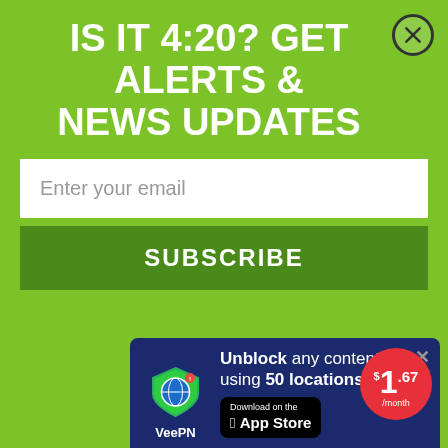IS IT 4:20? GET ALERTS & NEWS UPDATES
Enter your email
SUBSCRIBE
been stymied by the Schedule 1 status of the malformed federal definition of marijuana. Previous attempts to allow its research have been concerned with changing the Schedule 1 status of marijuana. They all failed.
[Figure (infographic): VeePN advertisement banner: Unblock any content using 50 locations. Download on the App Store. $1.67/month price bubble. VeePN logo with shield icon.]
construct the make it necessary ois, while until its